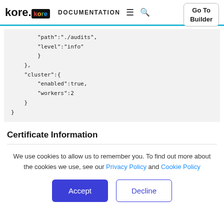kore.ai DOCUMENTATION — Go To Builder
"path":"./audits",
"level":"info"
}
},
"cluster":{
"enabled":true,
"workers":2
}
}
Certificate Information
We use cookies to allow us to remember you. To find out more about the cookies we use, see our Privacy Policy and Cookie Policy
Accept  Decline